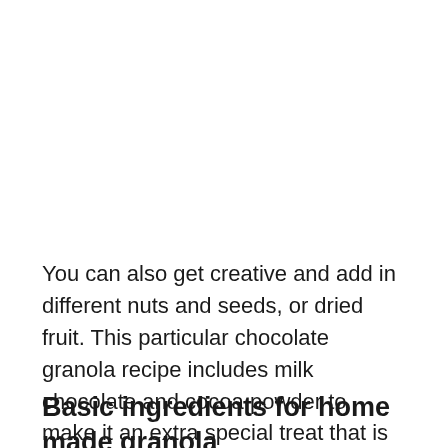You can also get creative and add in different nuts and seeds, or dried fruit. This particular chocolate granola recipe includes milk chocolate and cocoa powder to make it an extra special treat that is best enjoyed in moderation.
Basic ingredients for home made granola